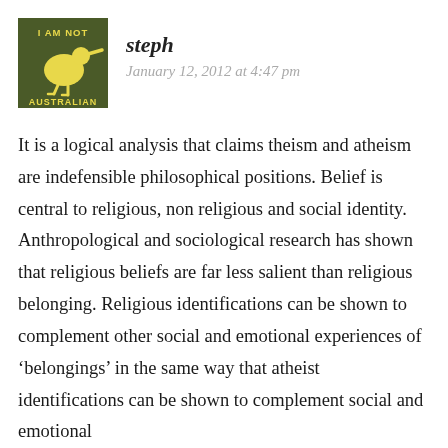[Figure (logo): Dark olive/green square badge with yellow kiwi bird silhouette and text 'I AM NOT AUSTRALIAN']
steph
January 12, 2012 at 4:47 pm
It is a logical analysis that claims theism and atheism are indefensible philosophical positions. Belief is central to religious, non religious and social identity. Anthropological and sociological research has shown that religious beliefs are far less salient than religious belonging. Religious identifications can be shown to complement other social and emotional experiences of ‘belongings’ in the same way that atheist identifications can be shown to complement social and emotional experiences of ‘belongings’. Atheism and theism